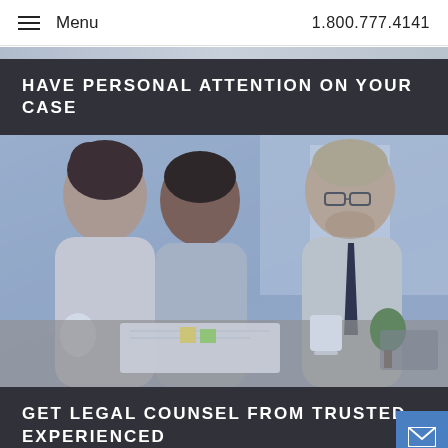Menu   1.800.777.4141
[Figure (photo): Top strip of a photo showing people in an office consultation setting]
HAVE PERSONAL ATTENTION ON YOUR CASE
[Figure (photo): Photo of two clients (a woman and a man) meeting with a suited male attorney at a desk with documents, coffee cups and a plant, with a blue overlay tint]
GET LEGAL COUNSEL FROM TRUSTED EXPERIENCED